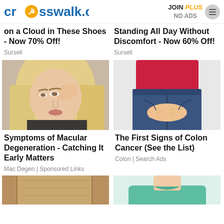[Figure (logo): crosswalk.com logo with orange person icon]
JOIN PLUS NO ADS
on a Cloud in These Shoes - Now 70% Off!
Sursell
Standing All Day Without Discomfort - Now 60% Off!
Sursell
[Figure (photo): Blonde woman rubbing her eye with her finger]
Symptoms of Macular Degeneration - Catching It Early Matters
Mac Degen | Sponsored Links
[Figure (photo): Woman in red top and jeans with hands behind her back]
The First Signs of Colon Cancer (See the List)
Colon | Search Ads
[Figure (photo): Partial image of a wooden door frame at bottom left]
[Figure (photo): Partial image of a woman in teal/green top at bottom right]